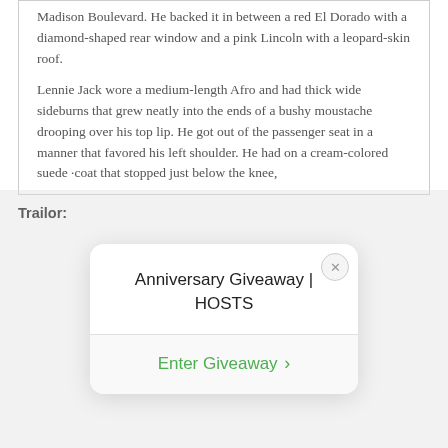Madison Boulevard. He backed it in between a red El Dorado with a diamond-shaped rear window and a pink Lincoln with a leopard-skin roof.

Lennie Jack wore a medium-length Afro and had thick wide sideburns that grew neatly into the ends of a bushy moustache drooping over his top lip. He got out of the passenger seat in a manner that favored his left shoulder. He had on a cream-colored suede ·coat that stopped just below the knee,
Trailor:
[Figure (screenshot): A popup overlay card with title 'Anniversary Giveaway | HOSTS' and a green 'Enter Giveaway >' link button, with a close (X) button in the top right corner.]